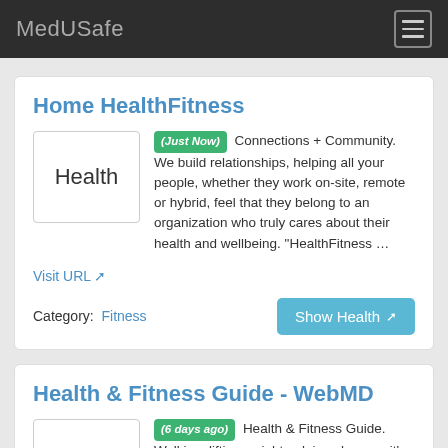MedUSafe
Home HealthFitness
(Just Now) Connections + Community. We build relationships, helping all your people, whether they work on-site, remote or hybrid, feel that they belong to an organization who truly cares about their health and wellbeing. "HealthFitness …
Visit URL
Category:  Fitness
Show Health
Health & Fitness Guide - WebMD
(6 days ago) Health & Fitness Guide. Walking, lifting weights, doing chores – it's all good. Regardless of what you do, regular exercise